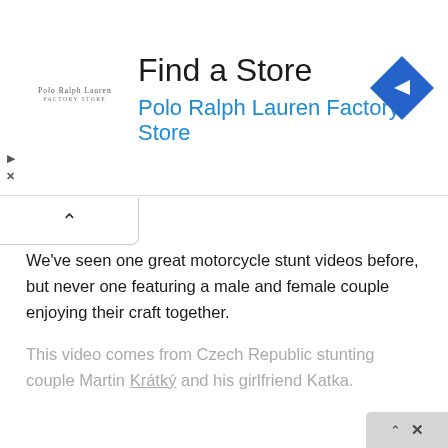[Figure (screenshot): Advertisement banner for Polo Ralph Lauren Factory Store with a navigation/directions diamond icon on the right, and small Polo Ralph Lauren logo on the left.]
Find a Store
Polo Ralph Lauren Factory Store
We've seen one great motorcycle stunt videos before, but never one featuring a male and female couple enjoying their craft together.
This video comes from Czech Republic stunting couple Martin Krátký and his girlfriend Katka.